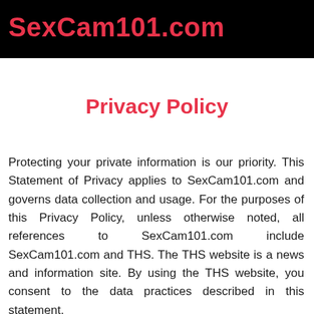SexCam101.com
Privacy Policy
Protecting your private information is our priority. This Statement of Privacy applies to SexCam101.com and governs data collection and usage. For the purposes of this Privacy Policy, unless otherwise noted, all references to SexCam101.com include SexCam101.com and THS. The THS website is a news and information site. By using the THS website, you consent to the data practices described in this statement.